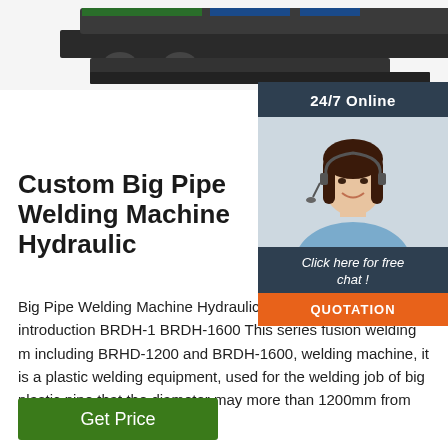[Figure (photo): Partial view of a large hydraulic pipe welding machine, showing dark industrial equipment on a gray surface, cropped at top of page.]
[Figure (photo): 24/7 Online customer service sidebar showing a smiling female agent wearing a headset with chat and quotation call-to-action buttons.]
Custom Big Pipe Welding Machine Hydraulic
Big Pipe Welding Machine Hydraulic. fus welding machinery introduction BRDH-1 BRDH-1600 This series fusion welding m including BRHD-1200 and BRDH-1600, welding machine, it is a plastic welding equipment, used for the welding job of big plastic pipe that the diameter may more than 1200mm from 1600mm.
Get Price